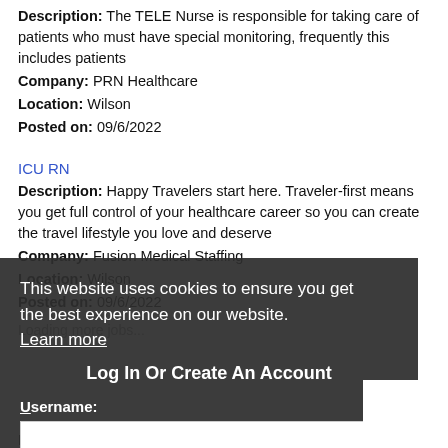Description: The TELE Nurse is responsible for taking care of patients who must have special monitoring, frequently this includes patients
Company: PRN Healthcare
Location: Wilson
Posted on: 09/6/2022
ICU RN
Description: Happy Travelers start here. Traveler-first means you get full control of your healthcare career so you can create the travel lifestyle you love and deserve
Company: Fusion Medical Staffing
Location: Wilson
Posted on: 09/6/2022
Loading more jobs...
This website uses cookies to ensure you get the best experience on our website. Learn more
Log In Or Create An Account
Username:
Got it!
Password: